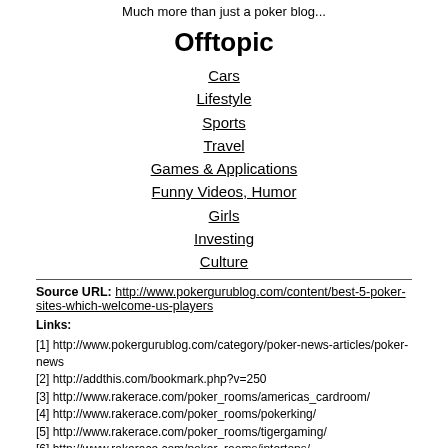Much more than just a poker blog...
Offtopic
Cars
Lifestyle
Sports
Travel
Games & Applications
Funny Videos, Humor
Girls
Investing
Culture
Source URL: http://www.pokergurublog.com/content/best-5-poker-sites-which-welcome-us-players
Links:
[1] http://www.pokergurublog.com/category/poker-news-articles/poker-news
[2] http://addthis.com/bookmark.php?v=250
[3] http://www.rakerace.com/poker_rooms/americas_cardroom/
[4] http://www.rakerace.com/poker_rooms/pokerking/
[5] http://www.rakerace.com/poker_rooms/tigergaming/
[6] http://www.rakerace.com/poker_rooms/intertops/